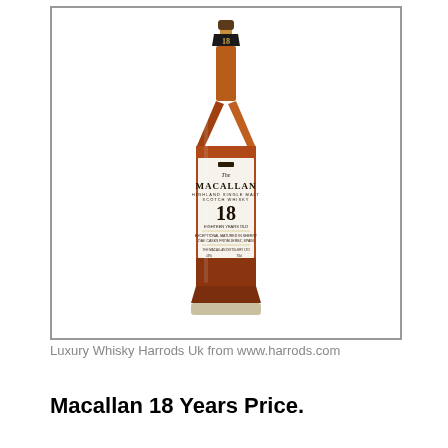[Figure (photo): A bottle of The Macallan Highland Single Malt Scotch Whisky, 18 Years Old, shown against a white background inside a grey-bordered rectangle.]
Luxury Whisky Harrods Uk from www.harrods.com
Macallan 18 Years Price.